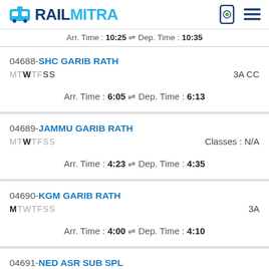RAILMITRA
Arr. Time : 10:25 ⇌ Dep. Time : 10:35
04688-SHC GARIB RATH
MTWTFSS	3A CC
Arr. Time : 6:05 ⇌ Dep. Time : 6:13
04689-JAMMU GARIB RATH
MTWTFSS	Classes : N/A
Arr. Time : 4:23 ⇌ Dep. Time : 4:35
04690-KGM GARIB RATH
MTWTFSS	3A
Arr. Time : 4:00 ⇌ Dep. Time : 4:10
04691-NED ASR SUB SPL